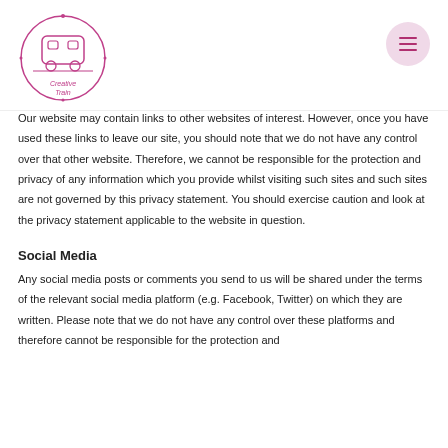Creative Train logo and navigation menu
Our website may contain links to other websites of interest. However, once you have used these links to leave our site, you should note that we do not have any control over that other website. Therefore, we cannot be responsible for the protection and privacy of any information which you provide whilst visiting such sites and such sites are not governed by this privacy statement. You should exercise caution and look at the privacy statement applicable to the website in question.
Social Media
Any social media posts or comments you send to us will be shared under the terms of the relevant social media platform (e.g. Facebook, Twitter) on which they are written. Please note that we do not have any control over these platforms and therefore cannot be responsible for the protection and